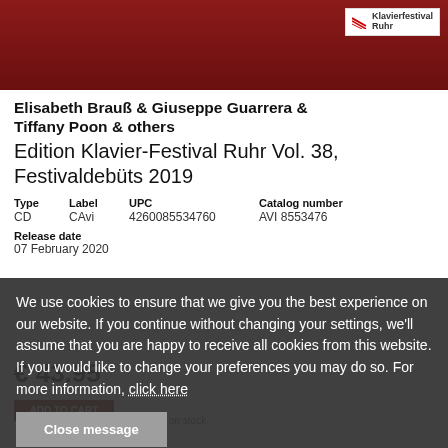[Figure (photo): Dark red/crimson background image, likely a piano or musical instrument, with a Klavier-Festival Ruhr logo badge in the top right corner]
Elisabeth Brauß & Giuseppe Guarrera & Tiffany Poon & others
Edition Klavier-Festival Ruhr Vol. 38, Festivaldebüts 2019
| Type | Label | UPC | Catalog number |
| --- | --- | --- | --- |
| CD | CAvi | 4260085534760 | AVI 8553476 |
Release date
07 February 2020
€ 43.95
We use cookies to ensure that we give you the best experience on our website. If you continue without changing your settings, we'll assume that you are happy to receive all cookies from this website. If you would like to change your preferences you may do so. For more information, click here
Close message